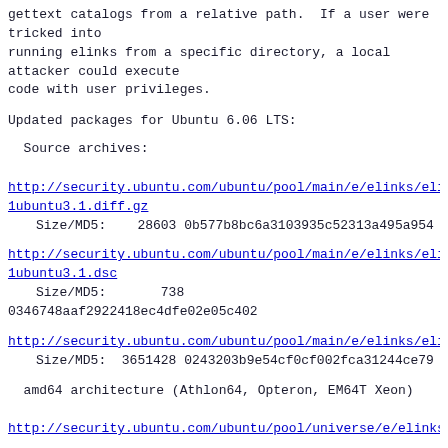gettext catalogs from a relative path.  If a user were tricked into
running elinks from a specific directory, a local attacker could execute
code with user privileges.
Updated packages for Ubuntu 6.06 LTS:
Source archives:
http://security.ubuntu.com/ubuntu/pool/main/e/elinks/eli...
1ubuntu3.1.diff.gz
        Size/MD5:    28603
0b577b8bc6a3103935c52313a495a954
http://security.ubuntu.com/ubuntu/pool/main/e/elinks/eli...
1ubuntu3.1.dsc
        Size/MD5:       738
0346748aaf2922418ec4dfe02e05c402
http://security.ubuntu.com/ubuntu/pool/main/e/elinks/eli...
        Size/MD5:  3651428
0243203b9e54cf0cf002fca31244ce79
amd64 architecture (Athlon64, Opteron, EM64T Xeon)
http://security.ubuntu.com/ubuntu/pool/universe/e/elinks...